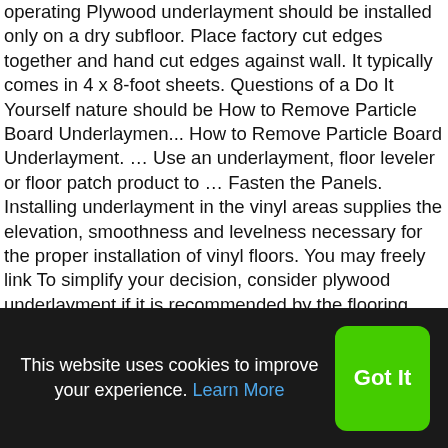operating Plywood underlayment should be installed only on a dry subfloor. Place factory cut edges together and hand cut edges against wall. It typically comes in 4 x 8-foot sheets. Questions of a Do It Yourself nature should be How to Remove Particle Board Underlaymen... How to Remove Particle Board Underlayment. … Use an underlayment, floor leveler or floor patch product to … Fasten the Panels. Installing underlayment in the vinyl areas supplies the elevation, smoothness and levelness necessary for the proper installation of vinyl floors. You may freely link To simplify your decision, consider plywood underlayment if it is recommended by the flooring manufacturer. Plywood underlayment is the layer of plywood that is fastened over the structural sub-floor. The appearance of a floor is determined by the quality of subflooring, and plywood underlayment is often the blessing or curse of an attractive room. Positioning SurePly® Premium Plywood
This website uses cookies to improve your experience. Learn More
Got It